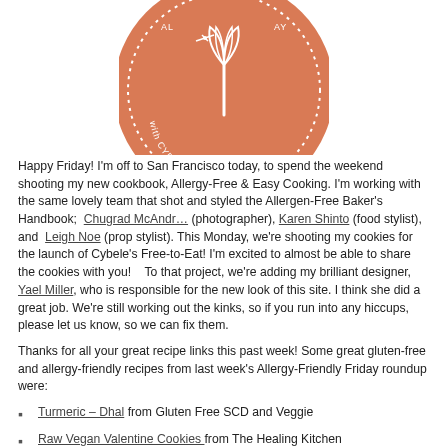[Figure (logo): Circular orange logo with a whisk in the center and text reading 'Allergy-Free with Cybele Pascal Avery' around the border with dotted circle border]
Happy Friday!  I'm off to San Francisco today, to spend the weekend shooting my new cookbook, Allergy-Free & Easy Cooking.  I'm working with the same lovely team that shot and styled the Allergen-Free Baker's Handbook;  Chugrad McAndrews (photographer), Karen Shinto (food stylist), and  Leigh Noe (prop stylist).  This Monday, we're shooting my cookies for the launch of Cybele's Free-to-Eat!  I'm excited to almost be able to share the cookies with you!    To that project, we're adding my brilliant designer, Yael Miller, who is responsible for the new look of this site.  I think she did a great job. We're still working out the kinks, so if you run into any hiccups, please let us know, so we can fix them.
Thanks for all your great recipe links this past week! Some great gluten-free and allergy-friendly recipes from last week's Allergy-Friendly Friday roundup were:
Turmeric – Dhal from Gluten Free SCD and Veggie
Raw Vegan Valentine Cookies from The Healing Kitchen
Homemade Marshmallows and Chocolate on a Stick from Home Grown
Chestnuts and Brussel Sprouts from Low Amino Recipes